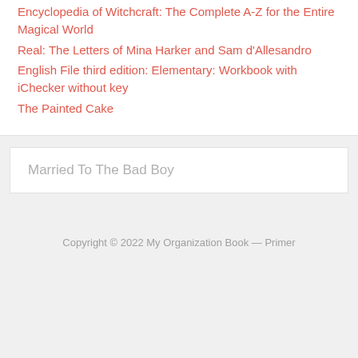Encyclopedia of Witchcraft: The Complete A-Z for the Entire Magical World
Real: The Letters of Mina Harker and Sam d'Allesandro
English File third edition: Elementary: Workbook with iChecker without key
The Painted Cake
Married To The Bad Boy
Copyright © 2022 My Organization Book — Primer